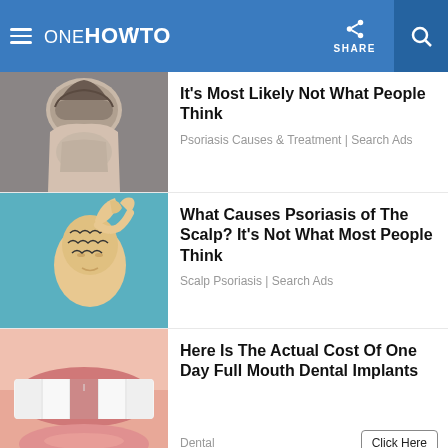oneHOWTO | SHARE
[Figure (photo): Person scratching their head/scalp - grey haired person viewed from behind]
It’s Most Likely Not What People Think
Psoriasis Causes & Treatment | Search Ads
[Figure (illustration): Illustrated bald person with hand peeling skin from scalp - scalp psoriasis illustration]
What Causes Psoriasis of The Scalp? It’s Not What Most People Think
Scalp Psoriasis | Search Ads
[Figure (photo): Close-up photo of open mouth showing teeth with gap - dental implant advertisement]
Here Is The Actual Cost Of One Day Full Mouth Dental Implants
Dental
Click Here